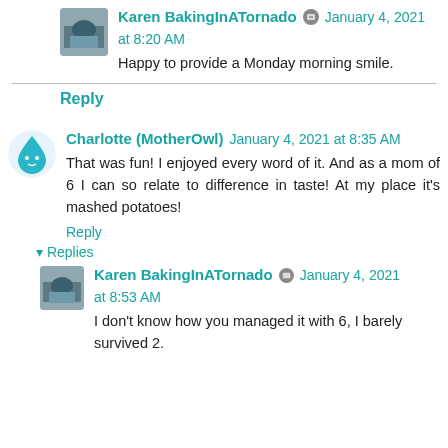Karen BakingInATornado · January 4, 2021 at 8:20 AM
Happy to provide a Monday morning smile.
Reply
Charlotte (MotherOwl) January 4, 2021 at 8:35 AM
That was fun! I enjoyed every word of it. And as a mom of 6 I can so relate to difference in taste! At my place it's mashed potatoes!
Reply
▾ Replies
Karen BakingInATornado · January 4, 2021 at 8:53 AM
I don't know how you managed it with 6, I barely survived 2.